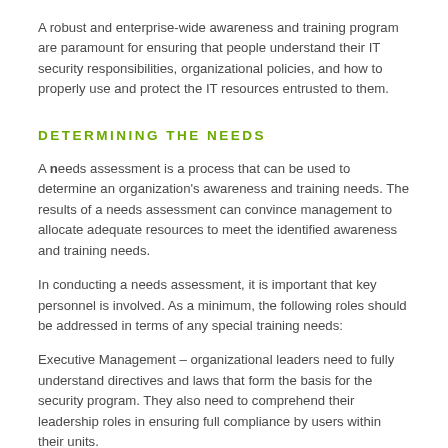A robust and enterprise-wide awareness and training program are paramount for ensuring that people understand their IT security responsibilities, organizational policies, and how to properly use and protect the IT resources entrusted to them.
DETERMINING THE NEEDS
A needs assessment is a process that can be used to determine an organization's awareness and training needs. The results of a needs assessment can convince management to allocate adequate resources to meet the identified awareness and training needs.
In conducting a needs assessment, it is important that key personnel is involved. As a minimum, the following roles should be addressed in terms of any special training needs:
Executive Management – organizational leaders need to fully understand directives and laws that form the basis for the security program. They also need to comprehend their leadership roles in ensuring full compliance by users within their units.